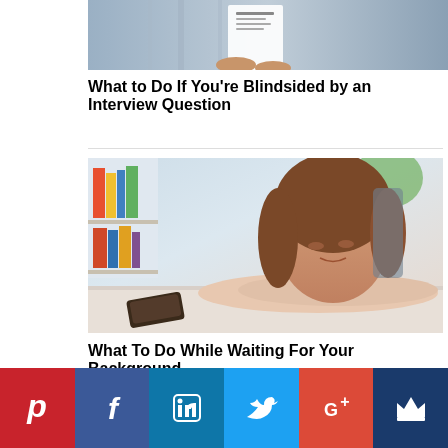[Figure (photo): Top portion of a person holding a resume document, standing in front of a striped/blurred background]
What to Do If You’re Blindsided by an Interview Question
[Figure (photo): Woman with brown hair resting her head on her folded arms on a desk, looking down at a smartphone placed on the desk, with a blurred office/bookshelf background]
What To Do While Waiting For Your Background
[Figure (infographic): Social sharing bar with six buttons: Pinterest (red), Facebook (dark blue), LinkedIn (light blue), Twitter (light blue), Google+ (red), and a crown icon (dark blue)]